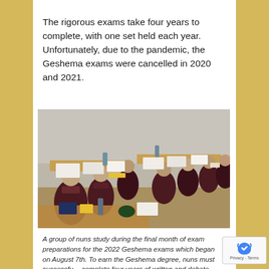The rigorous exams take four years to complete, with one set held each year. Unfortunately, due to the pandemic, the Geshema exams were cancelled in 2020 and 2021.
[Figure (photo): A group of Buddhist nuns in dark maroon robes seated at long wooden desks, studying with papers and books, preparing for exams.]
A group of nuns study during the final month of exam preparations for the 2022 Geshema exams which began on August 7th. To earn the Geshema degree, nuns must successfully complete four years of written and debate exams as well as write and defend a thesis.